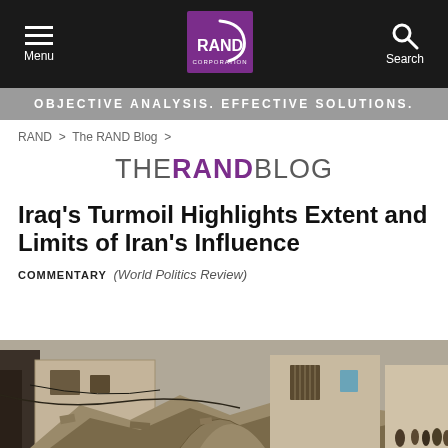Menu | RAND Corporation | Search
OBJECTIVE ANALYSIS. EFFECTIVE SOLUTIONS.
RAND > The RAND Blog >
THE RAND BLOG
Iraq's Turmoil Highlights Extent and Limits of Iran's Influence
COMMENTARY (World Politics Review)
[Figure (photo): Photograph of war-damaged and collapsed buildings in Iraq, with rubble and debris visible, and people standing in the background on the right side]